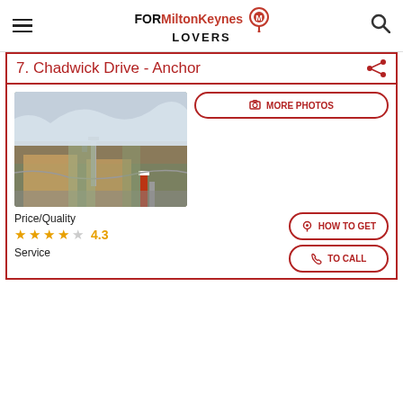FOR Milton Keynes LOVERS
7. Chadwick Drive - Anchor
[Figure (photo): Street view photo showing a road sign post, residential buildings with brick walls, vegetation, and a cloudy sky at Chadwick Drive]
MORE PHOTOS
Price/Quality
★★★★☆ 4.3
Service
HOW TO GET
TO CALL